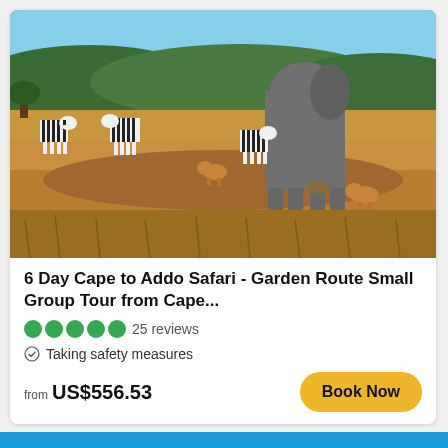[Figure (photo): Safari scene with zebras and an elephant on golden grassland with green hills in background]
6 Day Cape to Addo Safari - Garden Route Small Group Tour from Cape...
25 reviews
Taking safety measures
from US$556.53
Book Now